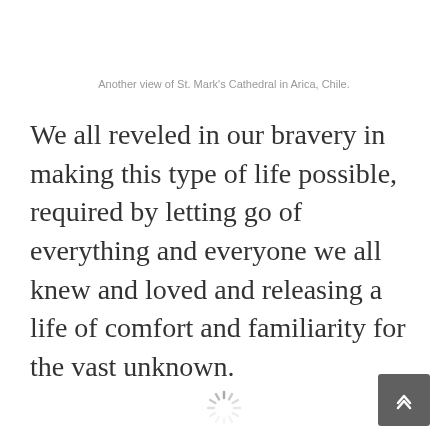Another view of St. Mark's Cathedral in Arica, Chile.
We all reveled in our bravery in making this type of life possible, required by letting go of everything and everyone we all knew and loved and releasing a life of comfort and familiarity for the vast unknown.